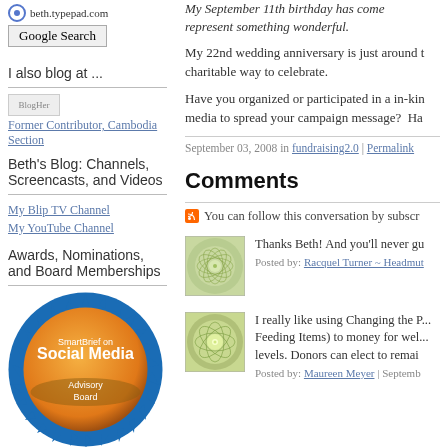beth.typepad.com
Google Search
I also blog at ...
[Figure (logo): BlogHer logo image]
Former Contributor, Cambodia Section
Beth's Blog: Channels, Screencasts, and Videos
My Blip TV Channel
My YouTube Channel
Awards, Nominations, and Board Memberships
[Figure (illustration): SmartBrief on Social Media Advisory Board badge - orange circular badge with blue spiky border]
My September 11th birthday has come... represent something wonderful.
My 22nd wedding anniversary is just around t... charitable way to celebrate.
Have you organized or participated in a in-kin... media to spread your campaign message? Ha...
September 03, 2008 in fundraising2.0 | Permalink
Comments
You can follow this conversation by subscr...
Thanks Beth! And you'll never gu...
Posted by: Racquel Turner ~ Headmut...
I really like using Changing the P... Feeding Items) to money for wel... levels. Donors can elect to remai...
Posted by: Maureen Meyer | Septemb...